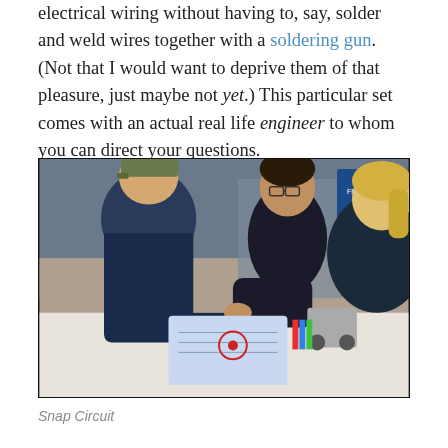electrical wiring without having to, say, solder and weld wires together with a soldering gun.  (Not that I would want to deprive them of that pleasure, just maybe not yet.) This particular set comes with an actual real life engineer to whom you can direct your questions.
[Figure (photo): Photo of two children and a young woman with glasses leaning over a table, working on what appears to be a circuit or robotics kit at an educational event or competition. Robotics equipment visible on the table.]
Snap Circuit